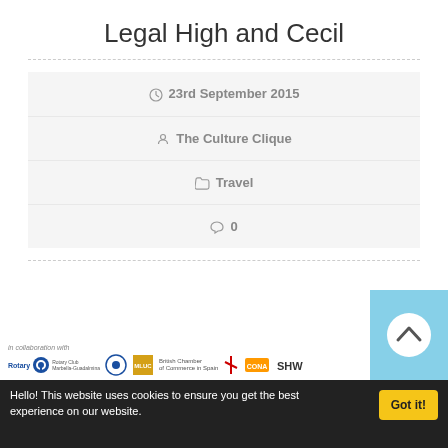Legal High and Cecil
⊙ 23rd September 2015
👤 The Culture Clique
📂 Travel
💬 0
[Figure (logo): Collaboration logos bar: Rotary Club Marbella-Guadalmina, MLUC, British Chamber of Commerce in Spain, and other partner logos]
Hello! This website uses cookies to ensure you get the best experience on our website.
Got it!